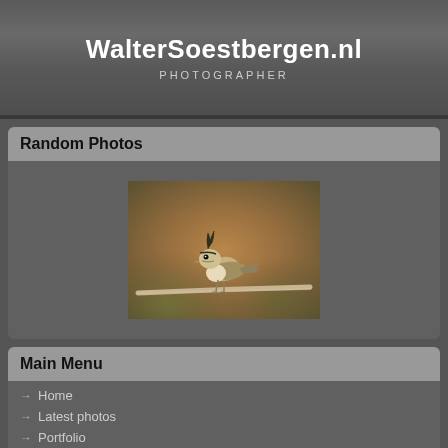WalterSoestbergen.nl
PHOTOGRAPHER
Random Photos
[Figure (photo): A crested tit bird perched on a branch, photographed against a warm brown bokeh background]
Main Menu
Home
Latest photos
Portfolio
Videos of Birds
Article